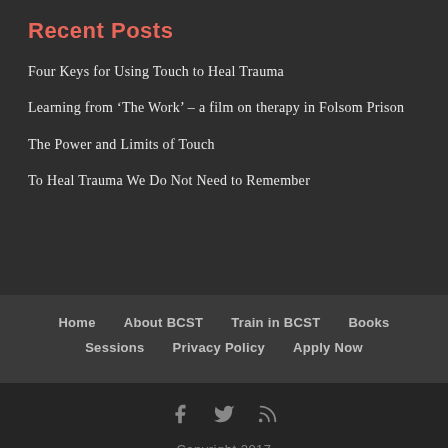Recent Posts
Four Keys for Using Touch to Heal Trauma
Learning from ‘The Work’ – a film on therapy in Folsom Prison
The Power and Limits of Touch
To Heal Trauma We Do Not Need to Remember
Home   About BCST   Train in BCST   Books   Sessions   Privacy Policy   Apply Now
Copyright 2017